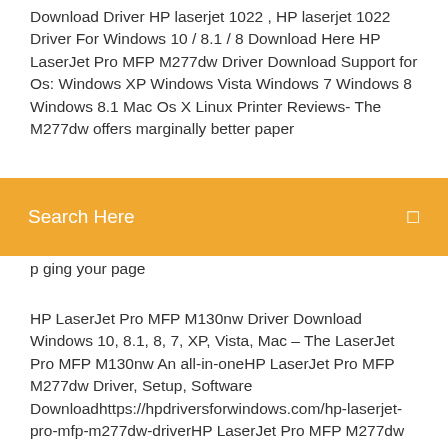Download Driver HP laserjet 1022 , HP laserjet 1022 Driver For Windows 10 / 8.1 / 8 Download Here HP LaserJet Pro MFP M277dw Driver Download Support for Os: Windows XP Windows Vista Windows 7 Windows 8 Windows 8.1 Mac Os X Linux Printer Reviews- The M277dw offers marginally better paper
Search Here
HP LaserJet Pro MFP M130nw Driver Download Windows 10, 8.1, 8, 7, XP, Vista, Mac – The LaserJet Pro MFP M130nw An all-in-oneHP LaserJet Pro MFP M277dw Driver, Setup, Software Downloadhttps://hpdriversforwindows.com/hp-laserjet-pro-mfp-m277dw-driverHP LaserJet Pro MFP M277dw Driver Download Windows 10, 8.1, 8, 7, XP, Vista, Mac – The relatively portable size of HP's LaserJet Pro M277dw is a little deceptive.HP Color LaserJet Pro MFP M277dw Driver Download | HP Scan...